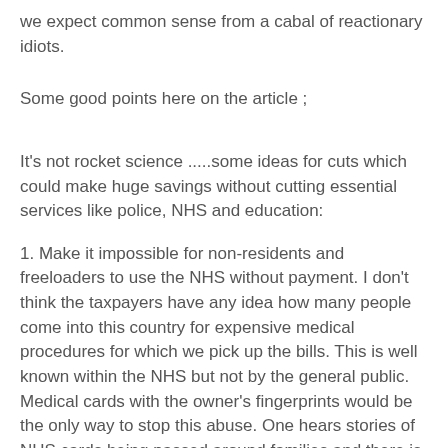we expect common sense from a cabal of reactionary idiots.
Some good points here on the article ;
It's not rocket science .....some ideas for cuts which could make huge savings without cutting essential services like police, NHS and education:
1. Make it impossible for non-residents and freeloaders to use the NHS without payment. I don't think the taxpayers have any idea how many people come into this country for expensive medical procedures for which we pick up the bills. This is well known within the NHS but not by the general public. Medical cards with the owner's fingerprints would be the only way to stop this abuse. One hears stories of NHS cards being passed around families and there is enormous abuse of the system.
2. Make child benefit recipients prove, regularly, that every